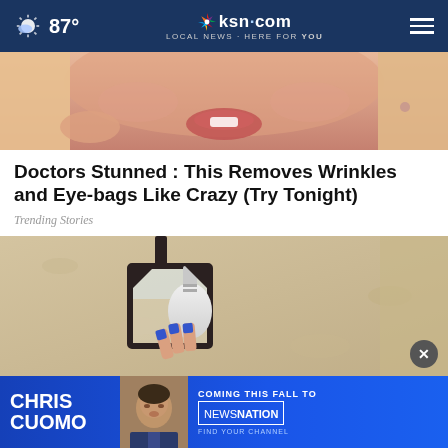87° ksn.com LOCAL NEWS · HERE FOR YOU
[Figure (photo): Close-up photo of a woman's face, mouth visible, blonde hair, smiling]
Doctors Stunned : This Removes Wrinkles and Eye-bags Like Crazy (Try Tonight)
Trending Stories
[Figure (photo): Photo of an outdoor wall lantern with LED light bulb being changed, hand with blue nail polish visible]
[Figure (infographic): Advertisement banner: CHRIS CUOMO COMING THIS FALL TO NEWSNATION FIND YOUR CHANNEL]